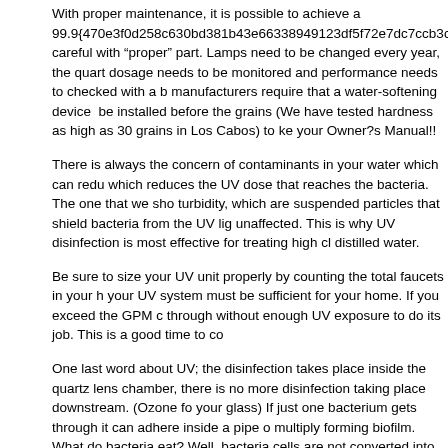With proper maintenance, it is possible to achieve a 99.9{470e3f0d258c630bd381b43e66338949123df5f72e7dc7ccb3cd8f37af careful with "proper" part. Lamps need to be changed every year, the quart dosage needs to be monitored and performance needs to checked with a b manufacturers require that a water-softening device  be installed before the grains (We have tested hardness as high as 30 grains in Los Cabos) to ke your Owner?s Manual!!
There is always the concern of contaminants in your water which can redu which reduces the UV dose that reaches the bacteria. The one that we sho turbidity, which are suspended particles that shield bacteria from the UV lig unaffected. This is why UV disinfection is most effective for treating high cl distilled water.
Be sure to size your UV unit properly by counting the total faucets in your h your UV system must be sufficient for your home. If you exceed the GPM c through without enough UV exposure to do its job. This is a good time to co
One last word about UV; the disinfection takes place inside the quartz lens chamber, there is no more disinfection taking place downstream. (Ozone fo your glass) If just one bacterium gets through it can adhere inside a pipe o multiply forming biofilm. What do bacteria eat? Well, bacteria cells are not converted into pyrogens. Pyrogens are bacterial remains or decaying prod produce a rise in body temperature.? Bacteria thrive on pyrogens.